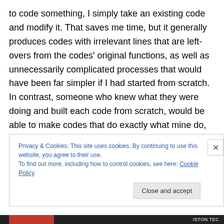to code something, I simply take an existing code and modify it. That saves me time, but it generally produces codes with irrelevant lines that are left-overs from the codes' original functions, as well as unnecessarily complicated processes that would have been far simpler if I had started from scratch. In contrast, someone who knew what they were doing and built each code from scratch, would be able to make codes that do exactly what mine do, but theirs would be very elegant and free of redundancies and irrelevant lines of code.
Privacy & Cookies: This site uses cookies. By continuing to use this website, you agree to their use. To find out more, including how to control cookies, see here: Cookie Policy
ISTON TEC